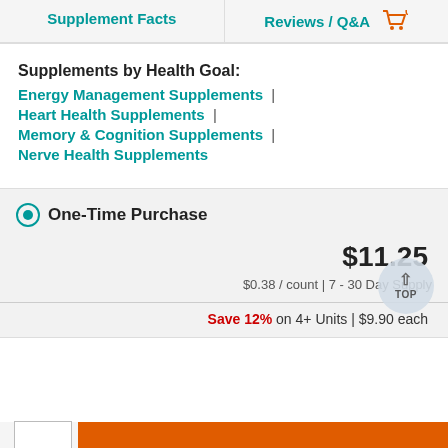Supplement Facts | Reviews / Q&A  0
Supplements by Health Goal:
Energy Management Supplements |
Heart Health Supplements |
Memory & Cognition Supplements |
Nerve Health Supplements
One-Time Purchase
$11.25
$0.38 / count | 7 - 30 Day Supply
Save 12% on 4+ Units | $9.90 each